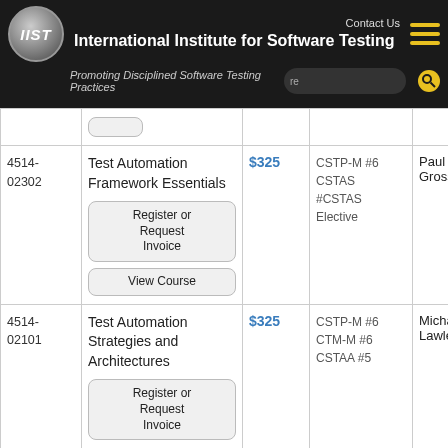International Institute for Software Testing — Promoting Disciplined Software Testing Practices
| ID | Course Name | Price | Certification | Instructor | Duration |
| --- | --- | --- | --- | --- | --- |
| 4514-02302 | Test Automation Framework Essentials | $325 | CSTP-M #6
CSTAS
#CSTAS Elective | Paul Grossman | 4 hrs 2 m |
| 4514-02101 | Test Automation Strategies and Architectures | $325 | CSTP-M #6
CTM-M #6
CSTAA #5 | Michael Lawler | 4 hrs 58 |